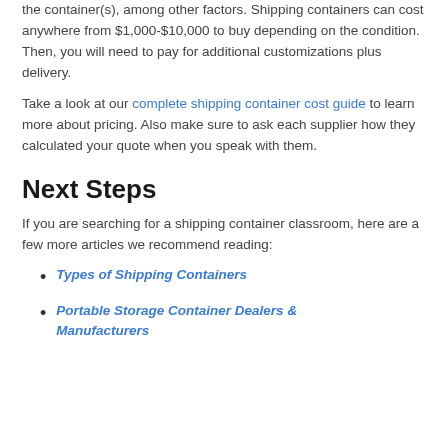the container(s), among other factors. Shipping containers can cost anywhere from $1,000-$10,000 to buy depending on the condition. Then, you will need to pay for additional customizations plus delivery.
Take a look at our complete shipping container cost guide to learn more about pricing. Also make sure to ask each supplier how they calculated your quote when you speak with them.
Next Steps
If you are searching for a shipping container classroom, here are a few more articles we recommend reading:
Types of Shipping Containers
Portable Storage Container Dealers & Manufacturers